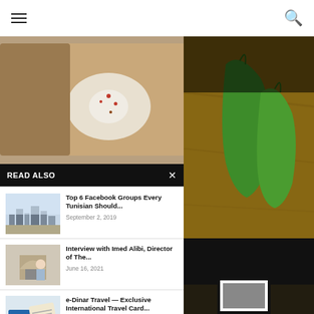[Figure (photo): Top food photo showing baked egg and casserole dish with spices]
[Figure (photo): Right side photo of green chili peppers on wooden cutting board with #TasteTunisia and 'wonderful Tunisia' text overlay]
READ ALSO
[Figure (photo): Thumbnail of cityscape for article about Facebook Groups]
Top 6 Facebook Groups Every Tunisian Should...
September 2, 2019
[Figure (photo): Thumbnail of man in front of arch for interview article with Imed Alibi]
Interview with Imed Alibi, Director of The...
June 16, 2021
[Figure (photo): Thumbnail of e-Dinar travel card]
e-Dinar Travel — Exclusive International Travel Card...